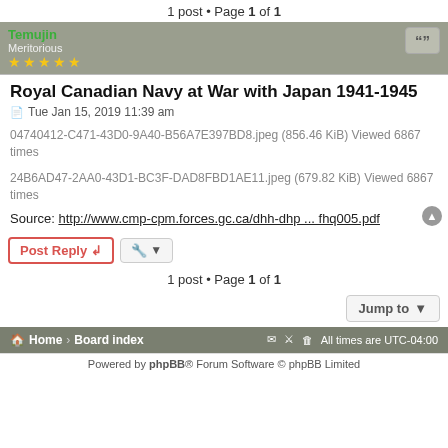1 post • Page 1 of 1
Temujin
Meritorious
★★★★★
Royal Canadian Navy at War with Japan 1941-1945
Tue Jan 15, 2019 11:39 am
04740412-C471-43D0-9A40-B56A7E397BD8.jpeg (856.46 KiB) Viewed 6867 times
24B6AD47-2AA0-43D1-BC3F-DAD8FBD1AE11.jpeg (679.82 KiB) Viewed 6867 times
Source: http://www.cmp-cpm.forces.gc.ca/dhh-dhp ... fhq005.pdf
1 post • Page 1 of 1
Home › Board index
All times are UTC-04:00
Powered by phpBB® Forum Software © phpBB Limited